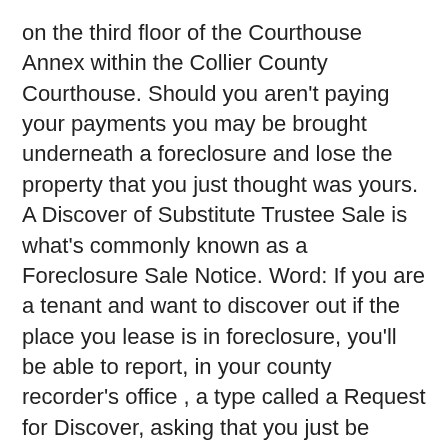on the third floor of the Courthouse Annex within the Collier County Courthouse. Should you aren't paying your payments you may be brought underneath a foreclosure and lose the property that you just thought was yours. A Discover of Substitute Trustee Sale is what's commonly known as a Foreclosure Sale Notice. Word: If you are a tenant and want to discover out if the place you lease is in foreclosure, you'll be able to report, in your county recorder's office , a type called a Request for Discover, asking that you just be notified of any foreclosure proceedings.
[Figure (other): Broken image placeholder (small icon with green triangle)]
But going by means of a foreclosure shuts off those other avenues of credit score on the identical time these families are shedding all of